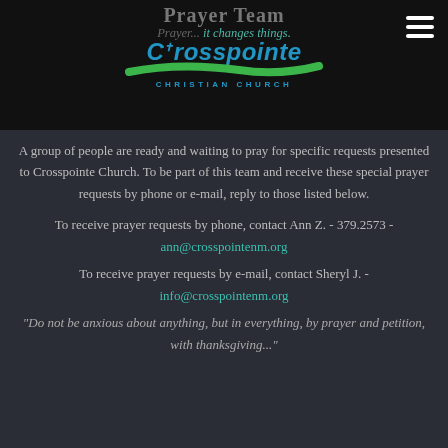Prayer Team
[Figure (logo): Crosspointe Christian Church logo with blue italic text and green swoosh]
Prayer... it changes things.
A group of people are ready and waiting to pray for specific requests presented to Crosspointe Church. To be part of this team and receive these special prayer requests by phone or e-mail, reply to those listed below.
To receive prayer requests by phone, contact Ann Z. - 379.2573 - ann@crosspointenm.org
To receive prayer requests by e-mail, contact Sheryl J. - info@crosspointenm.org
"Do not be anxious about anything, but in everything, by prayer and petition, with thanksgiving..."